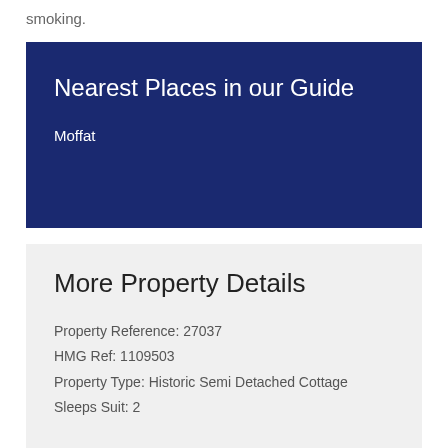smoking.
Nearest Places in our Guide
Moffat
More Property Details
Property Reference: 27037
HMG Ref: 1109503
Property Type: Historic Semi Detached Cottage
Sleeps Suit: 2